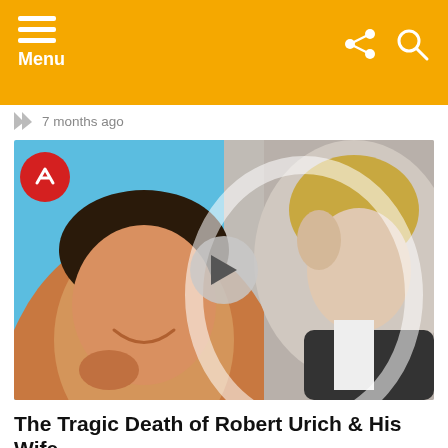Menu
7 months ago
[Figure (photo): Composite image showing a smiling man with dark hair on the left against a blue background, and a blonde woman with her hand raised to her face on the right. A play button overlay is centered on the image. A red BuzzFeed-style badge appears top-left.]
The Tragic Death of Robert Urich & His Wife
by Facts Verse
about a year ago